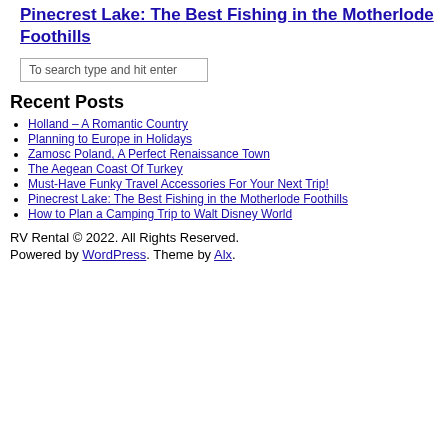Pinecrest Lake: The Best Fishing in the Motherlode Foothills
To search type and hit enter
Recent Posts
Holland – A Romantic Country
Planning to Europe in Holidays
Zamosc Poland, A Perfect Renaissance Town
The Aegean Coast Of Turkey
Must-Have Funky Travel Accessories For Your Next Trip!
Pinecrest Lake: The Best Fishing in the Motherlode Foothills
How to Plan a Camping Trip to Walt Disney World
RV Rental © 2022. All Rights Reserved.
Powered by WordPress. Theme by Alx.